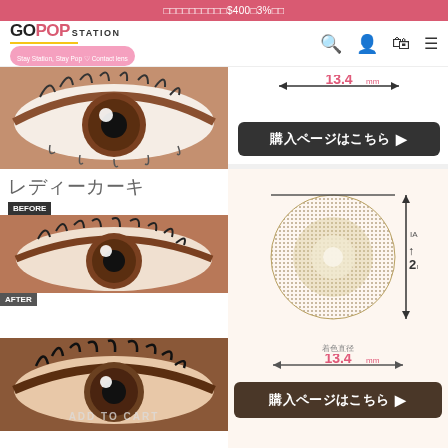□□□□□□□□□□$400□3%□□
[Figure (screenshot): GopopStation website navigation bar with logo, search, user, cart and menu icons]
[Figure (photo): Close-up of a brown eye wearing contact lens, 13.4mm measurement arrow shown]
購入ページはこちら ▶
レディーカーキ
BEFORE
[Figure (photo): Before photo: close-up of brown eye without colored contact lens]
AFTER
[Figure (photo): After photo: close-up of eye wearing レディーカーキ (Lady Khaki) colored contact lens]
ADD TO CART
[Figure (engineering-diagram): Contact lens diagram showing 着色直径 13.4mm measurement with vertical diameter arrow labeled 2mm and horizontal measurement arrows]
着色直径 13.4mm
購入ページはこちら ▶